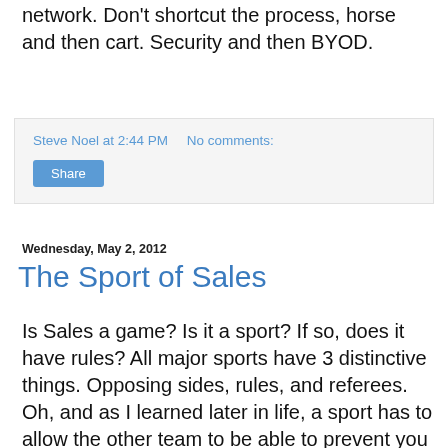network. Don't shortcut the process, horse and then cart. Security and then BYOD.
Steve Noel at 2:44 PM   No comments:
Share
Wednesday, May 2, 2012
The Sport of Sales
Is Sales a game? Is it a sport? If so, does it have rules? All major sports have 3 distinctive things. Opposing sides, rules, and referees. Oh, and as I learned later in life, a sport has to allow the other team to be able to prevent you from winning, otherwise it is a competition. Hockey has a goaltender to stop the other team from scoring (it is a sport), Golf does not have holetenders (it is a competition). So I ask you again, is sales a sport?